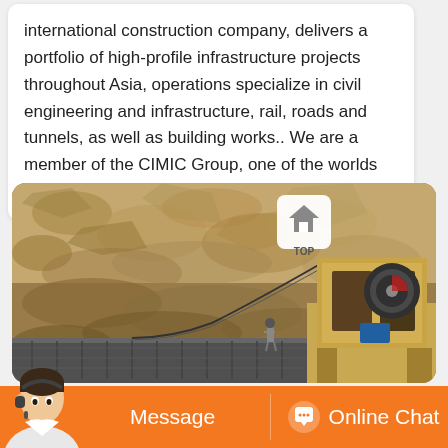international construction company, delivers a portfolio of high-profile infrastructure projects throughout Asia, operations specialize in civil engineering and infrastructure, rail, roads and tunnels, as well as building works.. We are a member of the CIMIC Group, one of the worlds largest...
[Figure (photo): Construction site photo showing heavy rock face/quarry in background with jaw crusher machinery on the right side, conveyor belt in the foreground, and a worker visible in the middle distance]
Message
Online Chat